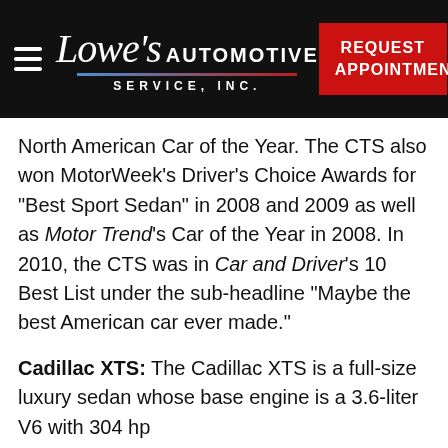Lowe's Automotive Service, Inc. | REQUEST APPOINTMENT
North American Car of the Year. The CTS also won MotorWeek's Driver's Choice Awards for "Best Sport Sedan" in 2008 and 2009 as well as Motor Trend's Car of the Year in 2008. In 2010, the CTS was in Car and Driver's 10 Best List under the sub-headline "Maybe the best American car ever made."
Cadillac XTS: The Cadillac XTS is a full-size luxury sedan whose base engine is a 3.6-liter V6 with 304 hp